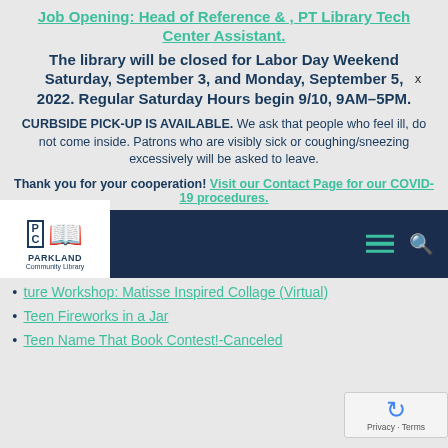Job Opening: Head of Reference & , PT Library Tech Center Assistant.
The library will be closed for Labor Day Weekend Saturday, September 3, and Monday, September 5, 2022. Regular Saturday Hours begin 9/10, 9AM–5PM.
CURBSIDE PICK-UP IS AVAILABLE. We ask that people who feel ill, do not come inside. Patrons who are visibly sick or coughing/sneezing excessively will be asked to leave.
Thank you for your cooperation! Visit our Contact Page for our COVID-19 procedures.
[Figure (logo): Parkland Community Library logo with navigation bar]
ture Workshop: Matisse Inspired Collage (Virtual)
Teen Fireworks in a Jar
Teen Name That Book Contest!-Canceled